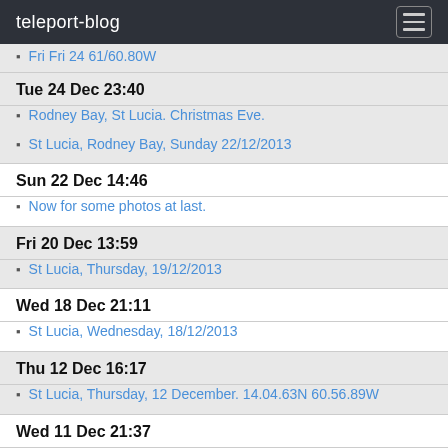teleport-blog
Fri Fri 24 something (truncated top)
Tue 24 Dec 23:40
Rodney Bay, St Lucia. Christmas Eve.
St Lucia, Rodney Bay, Sunday 22/12/2013
Sun 22 Dec 14:46
Now for some photos at last.
Fri 20 Dec 13:59
St Lucia, Thursday, 19/12/2013
Wed 18 Dec 21:11
St Lucia, Wednesday, 18/12/2013
Thu 12 Dec 16:17
St Lucia, Thursday, 12 December. 14.04.63N 60.56.89W
Wed 11 Dec 21:37
Wednesday. Day 17
Tue 10 Dec 21:40
Tuesday, 10 Dec. 14.47.96N 55.50.75W